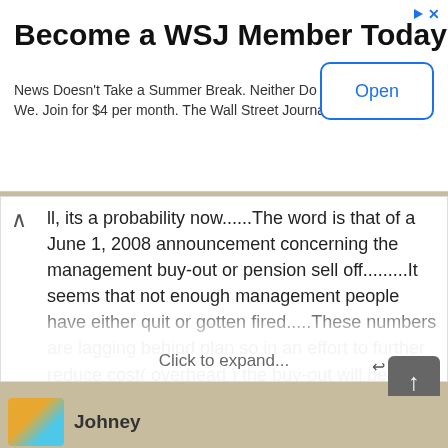[Figure (screenshot): WSJ advertisement banner: 'Become a WSJ Member Today' with Open button]
ll, its a probability now......The word is that of a June 1, 2008 announcement concerning the management buy-out or pension sell off.........It seems that not enough management people have either quit or gotten fired.....These numbers are lagging behind plan so in an effort to further reduce cost( overhead ) the buy-out will be aimed at the old-timers of over 50.... Perhaps the buy-out will be like the last one except for
Click to expand...
Like I said earlier the IAM is not buying any pensions especially from management. I think what you are refering too is the management pension will be rolled into a 401k plan and if thats the case thats old news!!!!
Reply
Johney